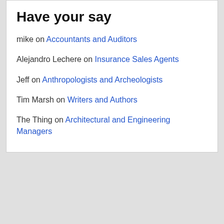Have your say
mike on Accountants and Auditors
Alejandro Lechere on Insurance Sales Agents
Jeff on Anthropologists and Archeologists
Tim Marsh on Writers and Authors
The Thing on Architectural and Engineering Managers